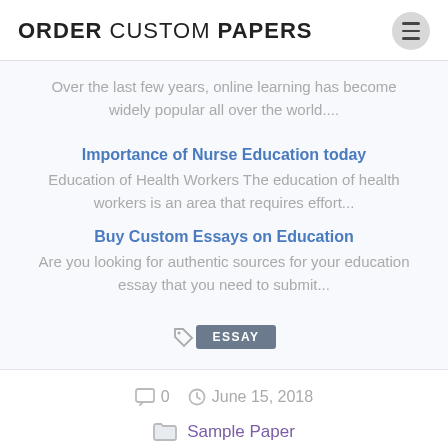ORDER CUSTOM PAPERS
Over the last few years, online learning has become widely popular all over the world....
Importance of Nurse Education today
Education of Health Workers The education of health workers is an area that requires effort...
Buy Custom Essays on Education
Are you looking for authentic sources for your education essay that you need to submit...
ESSAY
0   June 15, 2018
Sample Paper